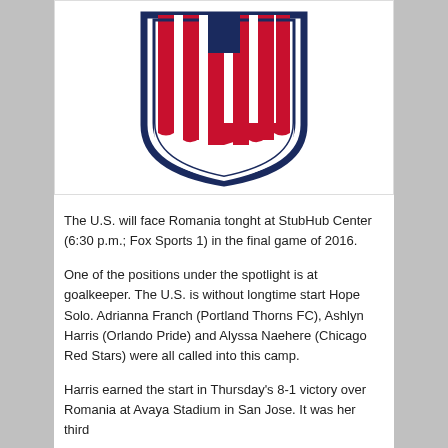[Figure (logo): U.S. Soccer crest/shield logo with red and white vertical stripes on a navy blue shield outline]
The U.S. will face Romania tonght at StubHub Center (6:30 p.m.; Fox Sports 1) in the final game of 2016.
One of the positions under the spotlight is at goalkeeper. The U.S. is without longtime start Hope Solo. Adrianna Franch (Portland Thorns FC), Ashlyn Harris (Orlando Pride) and Alyssa Naehere (Chicago Red Stars) were all called into this camp.
Harris earned the start in Thursday's 8-1 victory over Romania at Avaya Stadium in San Jose. It was her third